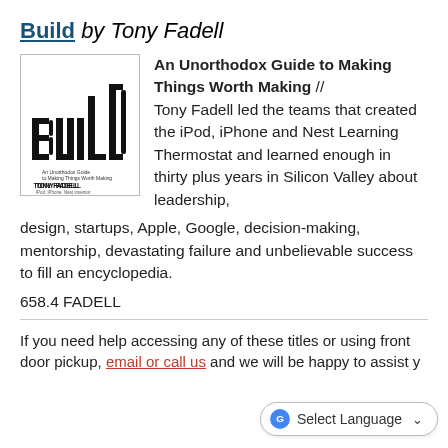Build by Tony Fadell
[Figure (illustration): Book cover of 'Build' by Tony Fadell showing stylized bar-chart-like letters spelling BUILD with subtitle text and author name]
An Unorthodox Guide to Making Things Worth Making // Tony Fadell led the teams that created the iPod, iPhone and Nest Learning Thermostat and learned enough in thirty plus years in Silicon Valley about leadership, design, startups, Apple, Google, decision-making, mentorship, devastating failure and unbelievable success to fill an encyclopedia.
658.4 FADELL
If you need help accessing any of these titles or using front door pickup, email or call us and we will be happy to assist y…